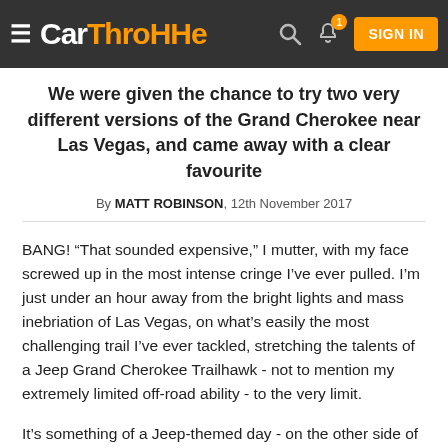CarThrottle — SIGN IN
We were given the chance to try two very different versions of the Grand Cherokee near Las Vegas, and came away with a clear favourite
By MATT ROBINSON, 12th November 2017
BANG! “That sounded expensive,” I mutter, with my face screwed up in the most intense cringe I’ve ever pulled. I’m just under an hour away from the bright lights and mass inebriation of Las Vegas, on what’s easily the most challenging trail I’ve ever tackled, stretching the talents of a Jeep Grand Cherokee Trailhawk - not to mention my extremely limited off-road ability - to the very limit.
It’s something of a Jeep-themed day - on the other side of this trail is Spring Mountain Motorsports ranch, and a bunch of